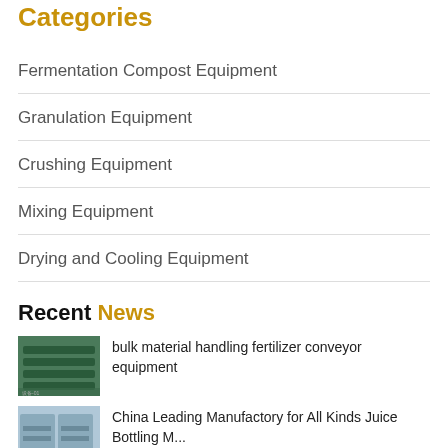Categories
Fermentation Compost Equipment
Granulation Equipment
Crushing Equipment
Mixing Equipment
Drying and Cooling Equipment
Recent News
bulk material handling fertilizer conveyor equipment
China Leading Manufactory for All Kinds Juice Bottling M...